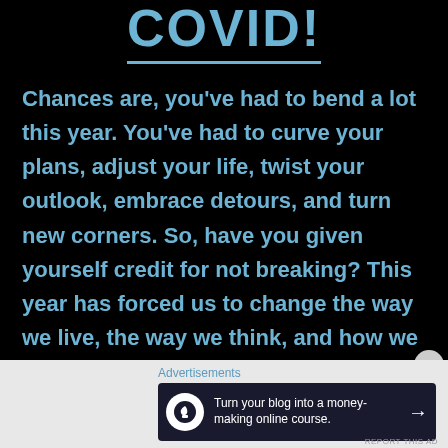COVID!
Chances are, you've had to bend a lot this year. You've had to curve your plans, adjust your life, twist your outlook, embrace detours, and turn new corners. So, have you given yourself credit for not breaking? This year has forced us to change the way we live, the way we think, and how we [...]
Advertisements
[Figure (infographic): Dark advertisement banner: 'Turn your blog into a money-making online course.' with arrow and circular logo icon]